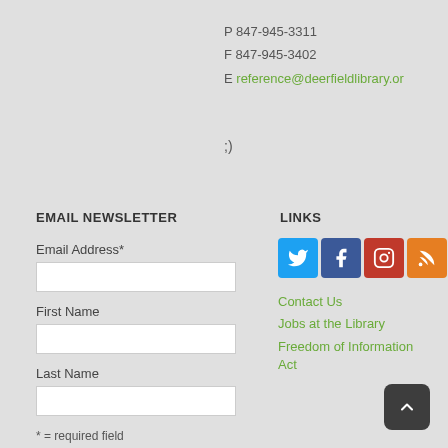P 847-945-3311
F 847-945-3402
E reference@deerfieldlibrary.or
;)
EMAIL NEWSLETTER
Email Address*
First Name
Last Name
* = required field
LINKS
[Figure (other): Social media icons: Twitter (blue), Facebook (dark blue), Instagram (red), RSS (orange)]
Contact Us
Jobs at the Library
Freedom of Information Act